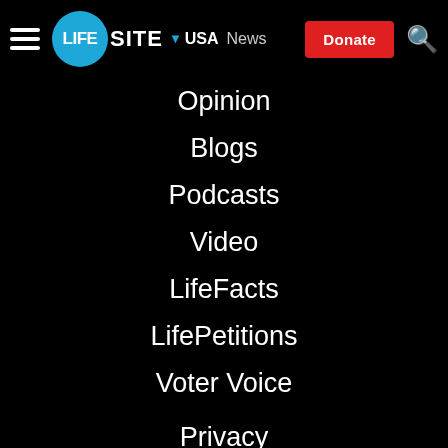[Figure (logo): LifeSite navigation header with hamburger menu, circular blue LIFE logo, SITE text, USA dropdown, News link, red Donate button, and search icon]
Opinion
Blogs
Podcasts
Video
LifeFacts
LifePetitions
Voter Voice
About
Subscribe
Advertise
Reprint Permissions
Privacy